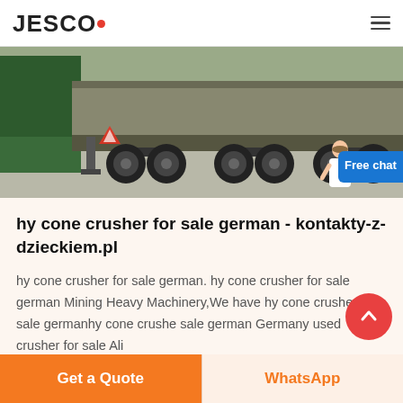JESCO
[Figure (photo): Photo of the rear of a large green truck/semi-trailer on a road, showing axles and wheels, viewed from the side.]
hy cone crusher for sale german - kontakty-z-dzieckiem.pl
hy cone crusher for sale german. hy cone crusher for sale german Mining Heavy Machinery,We have hy cone crusher for sale germanhy cone crushe sale german Germany used crusher for sale Ali